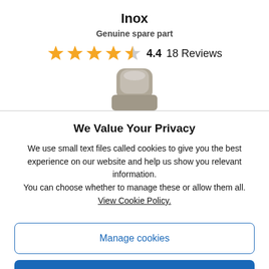Inox
Genuine spare part
[Figure (infographic): Star rating display: 4.4 out of 5 stars (4 full orange stars, 1 half orange/grey star), rating number 4.4, 18 Reviews]
[Figure (photo): Partial product image of a grey/beige spare part (inox component), cropped at the bottom]
We Value Your Privacy
We use small text files called cookies to give you the best experience on our website and help us show you relevant information.
You can choose whether to manage these or allow them all.
View Cookie Policy.
Manage cookies
Allow all